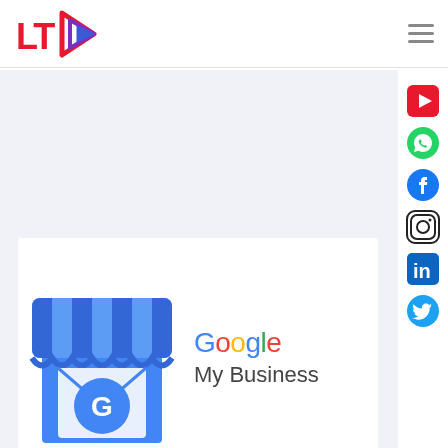[Figure (logo): LT logo with red text 'LT' and colorful play-button arrow icon in red, purple, blue gradients]
[Figure (illustration): Hamburger menu icon (three horizontal lines) in top right header]
[Figure (infographic): Social media sidebar icons: YouTube (red), WhatsApp (green), Facebook (blue), Instagram (black), LinkedIn (blue), Twitter (blue)]
[Figure (illustration): Google My Business logo: blue store-front icon with striped awning and a 'G' letter, next to 'Google My Business' text in Google colors]